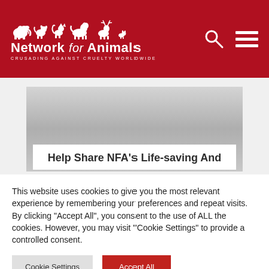[Figure (logo): Network for Animals logo on red header background with white animal silhouettes (elephant, dog, cat, horse, deer, smaller animals) and text 'Network for Animals - CRUSADING AGAINST CRUELTY WORLDWIDE', plus search icon and hamburger menu icon]
[Figure (photo): Gray gradient banner area, partially visible, serving as background image placeholder]
Help Share NFA's Life-saving And
This website uses cookies to give you the most relevant experience by remembering your preferences and repeat visits. By clicking "Accept All", you consent to the use of ALL the cookies. However, you may visit "Cookie Settings" to provide a controlled consent.
Cookie Settings | Accept All